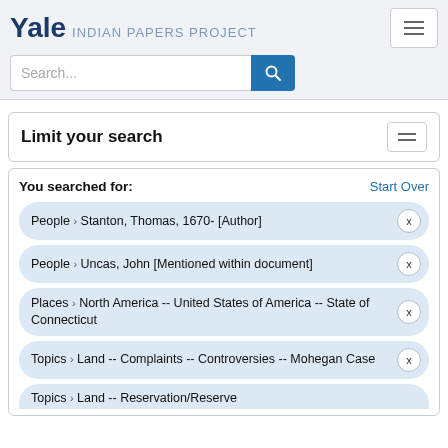Yale INDIAN PAPERS PROJECT
Search...
Limit your search
You searched for:
Start Over
People › Stanton, Thomas, 1670- [Author]
People › Uncas, John [Mentioned within document]
Places › North America -- United States of America -- State of Connecticut
Topics › Land -- Complaints -- Controversies -- Mohegan Case
Topics › Land -- Reservation/Reserve